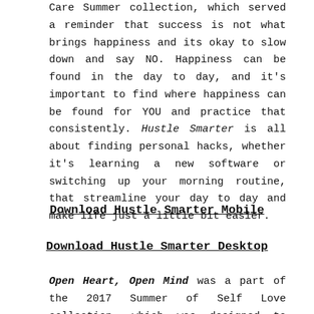Care Summer collection, which served a reminder that success is not what brings happiness and its okay to slow down and say NO. Happiness can be found in the day to day, and it's important to find where happiness can be found for YOU and practice that consistently. Hustle Smarter is all about finding personal hacks, whether it's learning a new software or switching up your morning routine, that streamline your day to day and make life just a little bit easier.
Download Hustle Smarter Mobile
Download Hustle Smarter Desktop
Open Heart, Open Mind was a part of the 2017 Summer of Self Love collection, which was designed to promote body positivity and inspire women to know